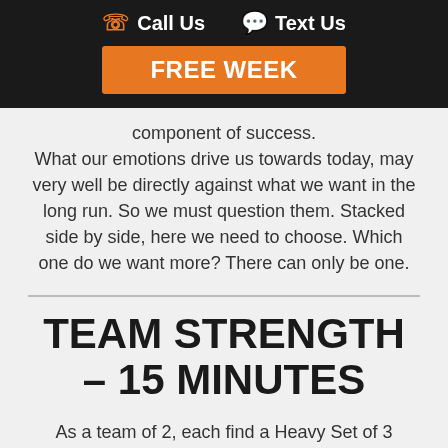Call Us   Text Us   FREE WEEK
component of success. What our emotions drive us towards today, may very well be directly against what we want in the long run. So we must question them. Stacked side by side, here we need to choose. Which one do we want more? There can only be one.
TEAM STRENGTH – 15 MINUTES
As a team of 2, each find a Heavy Set of 3 Push press from the rack.